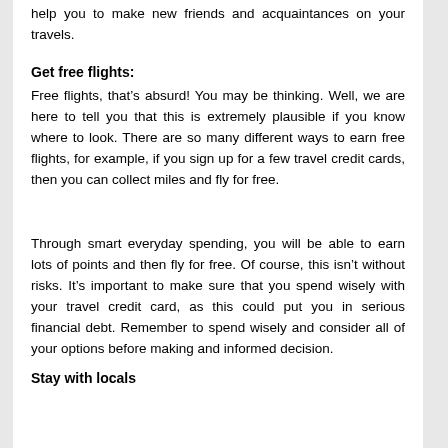help you to make new friends and acquaintances on your travels.
Get free flights:
Free flights, that's absurd! You may be thinking. Well, we are here to tell you that this is extremely plausible if you know where to look. There are so many different ways to earn free flights, for example, if you sign up for a few travel credit cards, then you can collect miles and fly for free.
Through smart everyday spending, you will be able to earn lots of points and then fly for free. Of course, this isn't without risks. It's important to make sure that you spend wisely with your travel credit card, as this could put you in serious financial debt. Remember to spend wisely and consider all of your options before making and informed decision.
Stay with locals